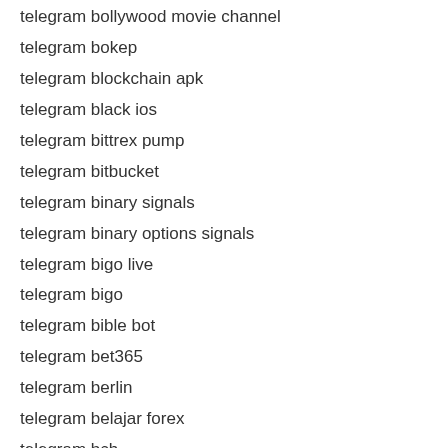telegram bollywood movie channel
telegram bokep
telegram blockchain apk
telegram black ios
telegram bittrex pump
telegram bitbucket
telegram binary signals
telegram binary options signals
telegram bigo live
telegram bigo
telegram bible bot
telegram bet365
telegram berlin
telegram belajar forex
telegram bch
telegram bbw channel
telegram bbm
telegram baz download